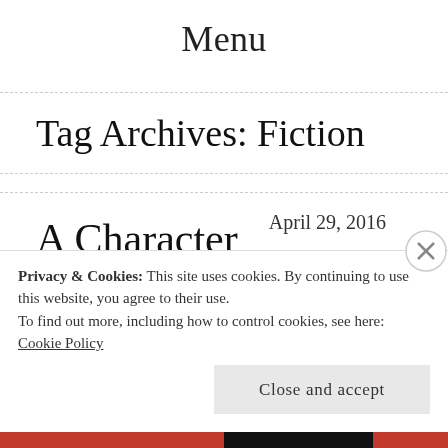Menu
Tag Archives: Fiction
A Character Based on Possessions (a
April 29, 2016
Privacy & Cookies: This site uses cookies. By continuing to use this website, you agree to their use.
To find out more, including how to control cookies, see here: Cookie Policy
Close and accept